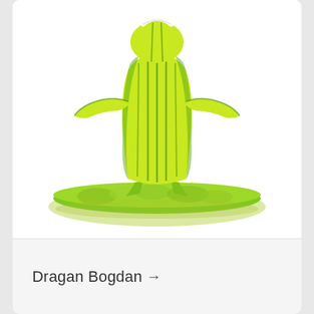[Figure (photo): A green and yellow striped ceramic or glass figurine of a person with arms outstretched, sitting on a flat oval base, against a white background.]
Dragan Bogdan →
[Figure (photo): Close-up photo of colorful metallic/glass objects in golden, purple, teal colors, blurred in the background.]